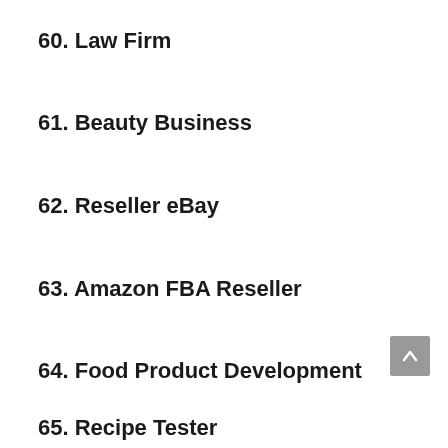60. Law Firm
61. Beauty Business
62. Reseller eBay
63. Amazon FBA Reseller
64. Food Product Development
65. Recipe Tester